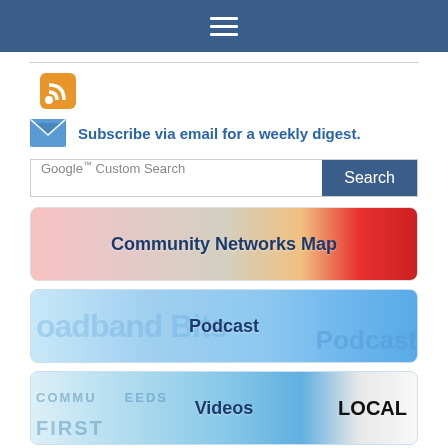Navigation menu (hamburger icon)
[Figure (screenshot): RSS feed icon (orange square with white radio waves)]
Subscribe via email for a weekly digest.
[Figure (screenshot): Google Custom Search bar with Search button]
[Figure (screenshot): Community Networks Map banner]
[Figure (screenshot): Podcast banner]
[Figure (screenshot): Videos banner]
[Figure (screenshot): Partial fourth banner at bottom]